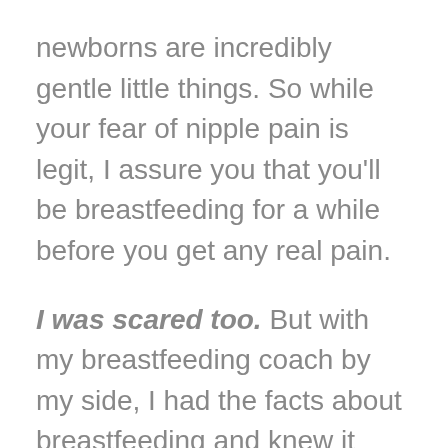newborns are incredibly gentle little things. So while your fear of nipple pain is legit, I assure you that you'll be breastfeeding for a while before you get any real pain.
I was scared too. But with my breastfeeding coach by my side, I had the facts about breastfeeding and knew it was best for my daughters. My biggest fear about breastfeeding